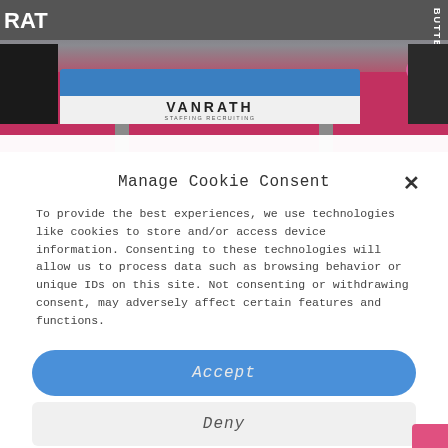[Figure (photo): Photo of a ping pong / table tennis setup at what appears to be a trade show or event. A blue table tennis table is visible with a VANRATH Staffing Recruiting banner. Butterfly branding visible on the right side. Pink/red floor visible.]
Manage Cookie Consent
To provide the best experiences, we use technologies like cookies to store and/or access device information. Consenting to these technologies will allow us to process data such as browsing behavior or unique IDs on this site. Not consenting or withdrawing consent, may adversely affect certain features and functions.
Accept
Deny
View preferences
Cookie Policy